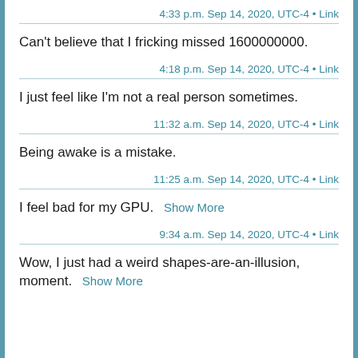4:33 p.m. Sep 14, 2020, UTC-4 • Link
Can't believe that I fricking missed 1600000000.
4:18 p.m. Sep 14, 2020, UTC-4 • Link
I just feel like I'm not a real person sometimes.
11:32 a.m. Sep 14, 2020, UTC-4 • Link
Being awake is a mistake.
11:25 a.m. Sep 14, 2020, UTC-4 • Link
I feel bad for my GPU.  Show More
9:34 a.m. Sep 14, 2020, UTC-4 • Link
Wow, I just had a weird shapes-are-an-illusion, moment.  Show More